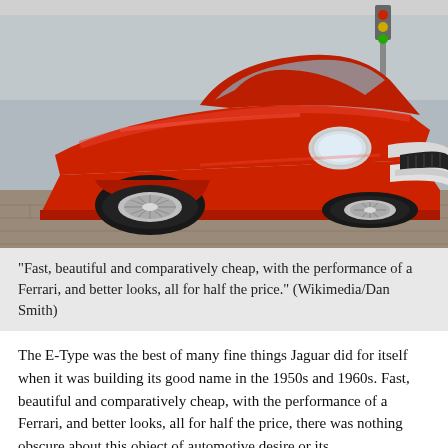[Figure (photo): A red Jaguar E-Type convertible sports car parked on a brick-paved street, photographed from a front three-quarter angle. The car is bright red with chrome wire wheels, a long hood, and open top.]
"Fast, beautiful and comparatively cheap, with the performance of a Ferrari, and better looks, all for half the price." (Wikimedia/Dan Smith)
The E-Type was the best of many fine things Jaguar did for itself when it was building its good name in the 1950s and 1960s. Fast, beautiful and comparatively cheap, with the performance of a Ferrari, and better looks, all for half the price, there was nothing obscure about this object of automotive desire or its